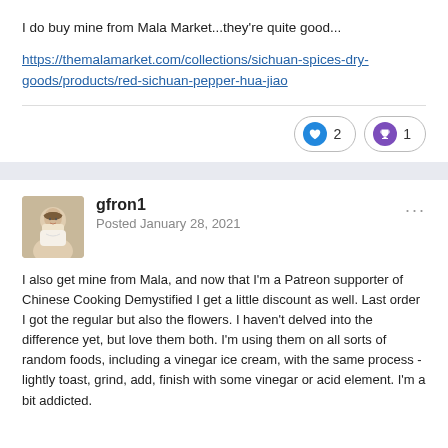I do buy mine from Mala Market...they're quite good...
https://themalamarket.com/collections/sichuan-spices-dry-goods/products/red-sichuan-pepper-hua-jiao
gfron1
Posted January 28, 2021
I also get mine from Mala, and now that I'm a Patreon supporter of Chinese Cooking Demystified I get a little discount as well. Last order I got the regular but also the flowers. I haven't delved into the difference yet, but love them both. I'm using them on all sorts of random foods, including a vinegar ice cream, with the same process - lightly toast, grind, add, finish with some vinegar or acid element. I'm a bit addicted.